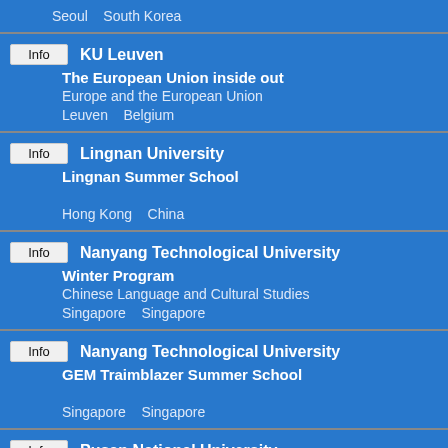Seoul    South Korea
Info  KU Leuven | The European Union inside out | Europe and the European Union | Leuven  Belgium
Info  Lingnan University | Lingnan Summer School | Hong Kong  China
Info  Nanyang Technological University | Winter Program | Chinese Language and Cultural Studies | Singapore  Singapore
Info  Nanyang Technological University | GEM Traimblazer Summer School | Singapore  Singapore
Info  Pusan National University | Winter Program | Korean Culture, History and Language | Busan  South Korea